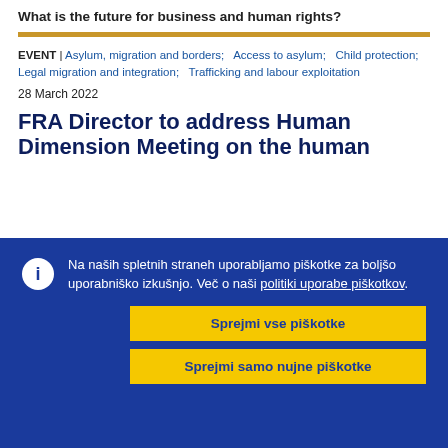What is the future for business and human rights?
EVENT | Asylum, migration and borders; Access to asylum; Child protection; Legal migration and integration; Trafficking and labour exploitation
28 March 2022
FRA Director to address Human Dimension Meeting on the human
Na naših spletnih straneh uporabljamo piškotke za boljšo uporabniško izkušnjo. Več o naši politiki uporabe piškotkov.
Sprejmi vse piškotke
Sprejmi samo nujne piškotke